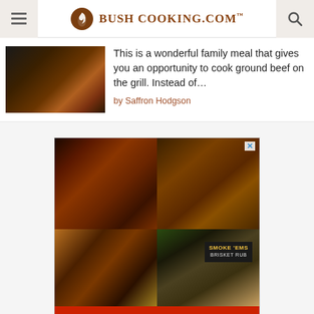Bush Cooking.com
This is a wonderful family meal that gives you an opportunity to cook ground beef on the grill. Instead of…
by Saffron Hodgson
[Figure (photo): Advertisement collage showing four BBQ food images (glazed ribs, peppered steak, burger, and a BBQ sauce gift box) with red GET THE BOX button at bottom]